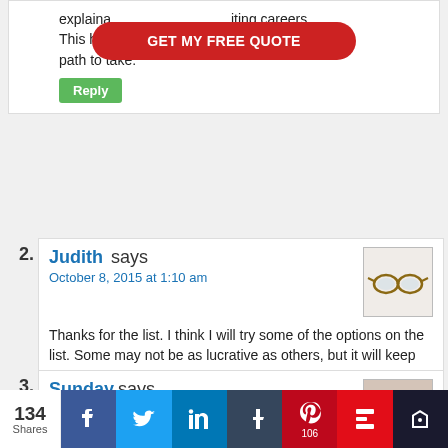explanation of writing careers. This has been helpful in ascertaining the path to take.
Reply
2. Judith says
October 8, 2015 at 1:10 am

Thanks for the list. I think I will try some of the options on the list. Some may not be as lucrative as others, but it will keep the passion for writing burning.

Reply
3. Sunday says
October 9, 2015 at 1:08 pm

Hi David,
A mega list of writers can be! Its a useful guide for
[Figure (infographic): Social sharing bar with 134 Shares, Facebook, Twitter, LinkedIn, Tumblr, Pinterest (106), Flipboard, and another icon]
[Figure (photo): Avatar image of glasses on white background for commenter Judith]
[Figure (photo): Avatar photo of a man for commenter Sunday]